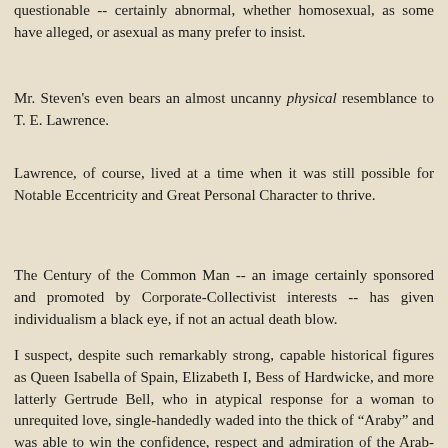questionable -- certainly abnormal, whether homosexual, as some have alleged, or asexual as many prefer to insist.
Mr. Steven's even bears an almost uncanny physical resemblance to T. E. Lawrence.
Lawrence, of course, lived at a time when it was still possible for Notable Eccentricity and Great Personal Character to thrive.
The Century of the Common Man -- an image certainly sponsored and promoted by Corporate-Collectivist interests -- has given individualism a black eye, if not an actual death blow.
I suspect, despite such remarkably strong, capable historical figures as Queen Isabella of Spain, Elizabeth I, Bess of Hardwicke, and more latterly Gertrude Bell, who in atypical response for a woman to unrequited love, single-handedly waded into the thick of "Araby" and was able to win the confidence, respect and admiration of the Arab-Mesopotamian potentates of her day, many of the more degrading aspects of modern life came as a result of the